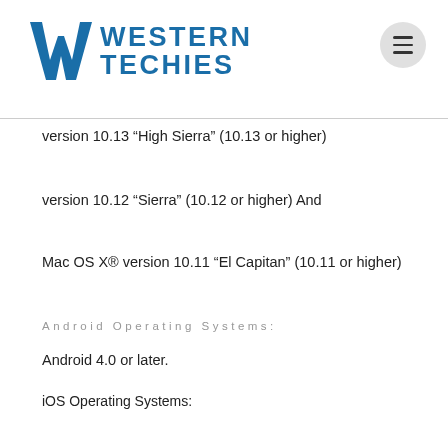WESTERN TECHIES
version 10.13 “High Sierra” (10.13 or higher)
version 10.12 “Sierra” (10.12 or higher) And
Mac OS X® version 10.11 “El Capitan” (10.11 or higher)
Android Operating Systems:
Android 4.0 or later.
iOS Operating Systems:
iOS 9 or later. 64-bit device required for latest version.
For more information click here